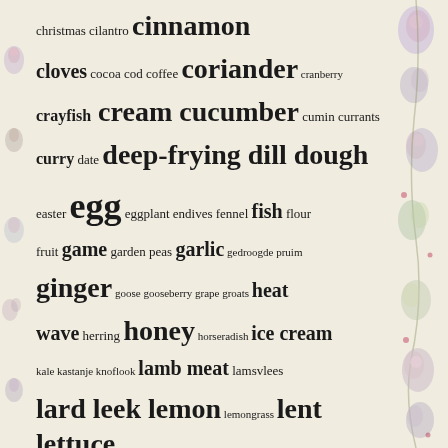[Figure (illustration): Decorative floral border on the right side of the page with illustrated flowers and vines in muted colors]
[Figure (illustration): Decorative floral border on the left side of the page]
christmas cilantro cinnamon cloves cocoa cod coffee coriander cranberry crayfish cream cucumber cumin currants curry date deep-frying dill dough easter egg eggplant endives fennel fish flour fruit game garden peas garlic gedroogde pruim ginger goose gooseberry grape groats heat wave herring honey horseradish ice cream kale kastanje knoflook lamb meat lamsvlees lard leek lemon lemongrass lent lettuce lime lobster lovage mackerel mallard marrow mayonnaise medlar meloen milk mint morchue one